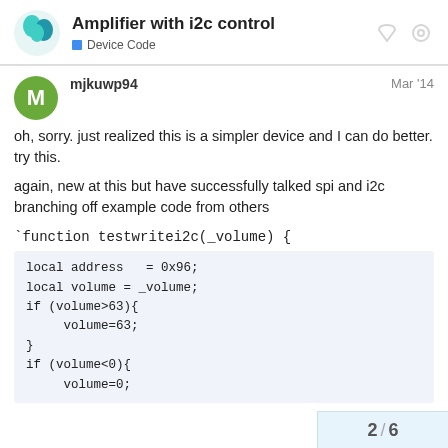Amplifier with i2c control – Device Code
oh, sorry. just realized this is a simpler device and I can do better. try this.
again, new at this but have successfully talked spi and i2c branching off example code from others
`function testwritei2c(_volume) {
local address   = 0x96;
local volume = _volume;
if (volume>63){
    volume=63;
}
if (volume<0){
    volume=0;